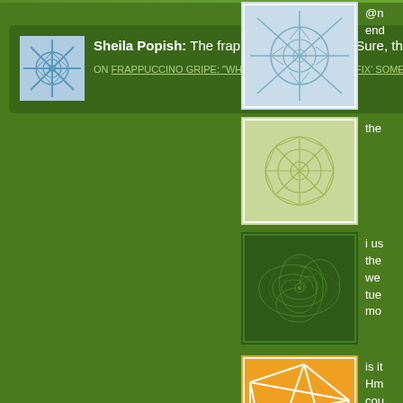Sheila Popish: The frappuccinos are okay. Sure, they taste go...  more »
ON FRAPPUCCINO GRIPE: "WHY WOULD STARBUCKS 'FIX' SOMETHING THAT'S NOT BROKEN?"
[Figure (illustration): Decorative tile thumbnail 1 - blue/white geometric snowflake pattern]
@n... end...
[Figure (illustration): Decorative tile thumbnail 2 - light green geometric star/flower pattern]
the...
[Figure (illustration): Decorative tile thumbnail 3 - dark green spiral/swirl pattern]
i us the we tue mo...
[Figure (illustration): Decorative tile thumbnail 4 - orange geometric irregular polygon/network pattern]
is it Hm cou The for...